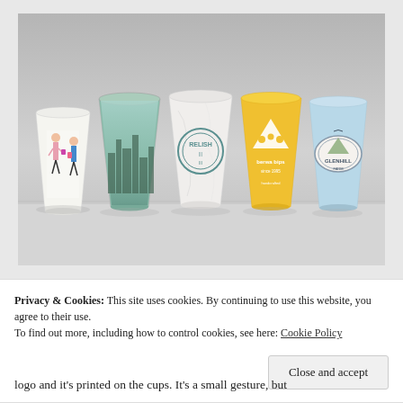[Figure (photo): Five branded paper coffee cups displayed side by side against a gray background. From left to right: a white cup with fashion illustration of women shopping, a teal/green cup with city skyline, a white marbled cup with 'RELISH' circular logo, a yellow cup with triangular house/cheese logo, and a light blue cup with 'GLENHILL' circular logo.]
Privacy & Cookies: This site uses cookies. By continuing to use this website, you agree to their use.
To find out more, including how to control cookies, see here: Cookie Policy
Close and accept
logo and it's printed on the cups. It's a small gesture, but